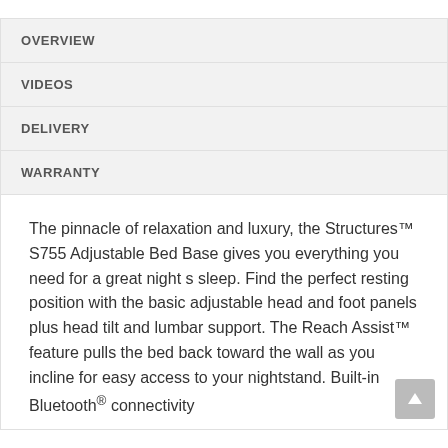OVERVIEW
VIDEOS
DELIVERY
WARRANTY
The pinnacle of relaxation and luxury, the Structures™ S755 Adjustable Bed Base gives you everything you need for a great night s sleep. Find the perfect resting position with the basic adjustable head and foot panels plus head tilt and lumbar support. The Reach Assist™ feature pulls the bed back toward the wall as you incline for easy access to your nightstand. Built-in Bluetooth® connectivity